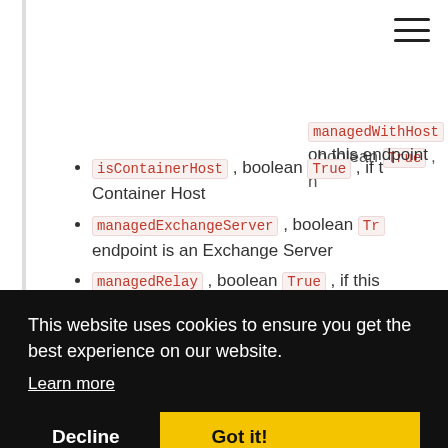[Figure (other): Hamburger menu icon (three horizontal lines) in top right corner]
managedWithHost , boolean True , [truncated] on this endpoint
isContainerHost , boolean True , if [truncated] Container Host
managedExchangeServer , boolean Tr[truncated] endpoint is an Exchange Server
managedRelay , boolean True , if this [truncated] Relay role
[partially visible] if th[truncated]
[partially visible] if th[truncated]
[partially visible code] rue[truncated]
[partially visible] d en[truncated]
[partially visible] f th[truncated]
[partially visible] fiel[truncated]
[partially visible] nab[truncated]
the module is disabled. The availab[truncated]
This website uses cookies to ensure you get the best experience on our website. Learn more
Decline
Got it!